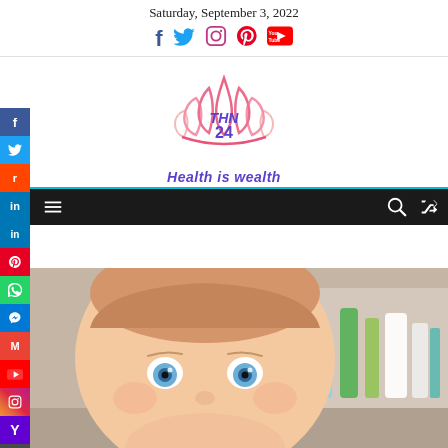Saturday, September 3, 2022
[Figure (logo): THN 24 Health is wealth logo with lotus flower in pink/red gradient and blue text]
[Figure (infographic): Navigation bar with home, menu, search and shuffle icons on dark background]
[Figure (photo): Close-up photo of a baby with blue eyes and light hair, with baby care products in the background]
[Figure (infographic): Social media sidebar with Facebook, Twitter, Reddit, LinkedIn, Pinterest, WhatsApp, Messenger, Gmail, YouTube, Instagram, and other social icons]